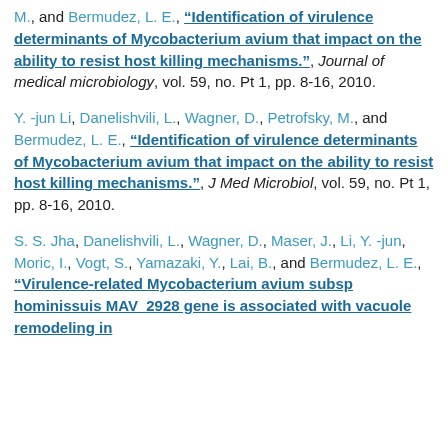M., and Bermudez, L. E., "Identification of virulence determinants of Mycobacterium avium that impact on the ability to resist host killing mechanisms.", Journal of medical microbiology, vol. 59, no. Pt 1, pp. 8-16, 2010.
Y. -jun Li, Danelishvili, L., Wagner, D., Petrofsky, M., and Bermudez, L. E., "Identification of virulence determinants of Mycobacterium avium that impact on the ability to resist host killing mechanisms.", J Med Microbiol, vol. 59, no. Pt 1, pp. 8-16, 2010.
S. S. Jha, Danelishvili, L., Wagner, D., Maser, J., Li, Y. -jun, Moric, I., Vogt, S., Yamazaki, Y., Lai, B., and Bermudez, L. E., "Virulence-related Mycobacterium avium subsp hominissuis MAV_2928 gene is associated with vacuole remodeling in